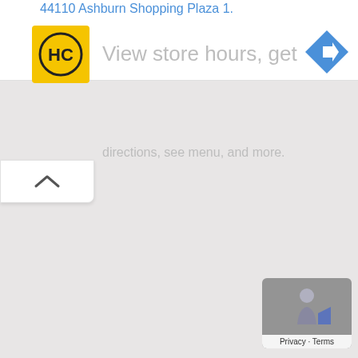44110 Ashburn Shopping Plaza 1.
[Figure (logo): HC logo — yellow square with black HC letters inside a circle]
View store hours, get
[Figure (other): Blue diamond-shaped navigation/directions icon with white right-turn arrow]
[Figure (map): Google Maps interface showing a mostly blank light-grey map area]
[Figure (other): Bottom-right widget with grey background showing a person/pegman icon]
Privacy · Terms